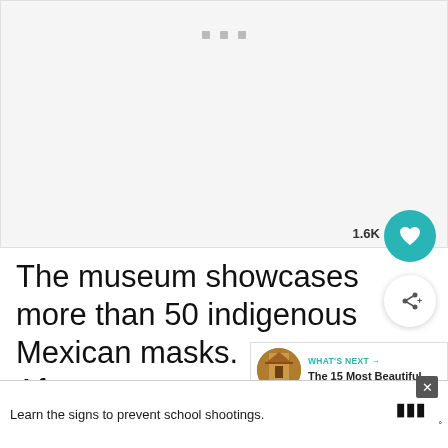[Figure (photo): Light gray placeholder image area with three small gray squares/dots near the top center, representing a loading or placeholder state for a museum photo]
The museum showcases more than 50 indigenous Mexican masks.
[Figure (screenshot): What's Next panel with circular thumbnail of a building and text: WHAT'S NEXT → The 15 Most Beautiful...]
After we set up an appointment, Vasseur invites us to first meet over a g
[Figure (infographic): Advertisement banner: Learn the signs to prevent school shootings. Sandy Hook Promise logo with tree graphic and X close button]